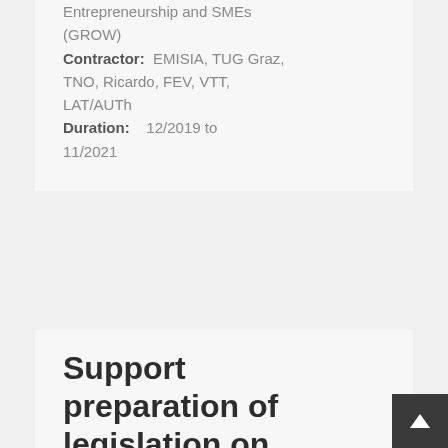Entrepreneurship and SMEs (GROW)
Contractor: EMISIA, TUG Graz, TNO, Ricardo, FEV, VTT, LAT/AUTh
Duration: 12/2019 to 11/2021
Support preparation of legislation on trailers